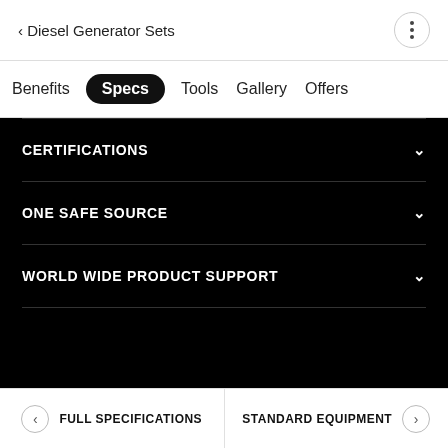< Diesel Generator Sets
Benefits | Specs (active) | Tools | Gallery | Offers
CERTIFICATIONS
ONE SAFE SOURCE
WORLD WIDE PRODUCT SUPPORT
FULL SPECIFICATIONS | STANDARD EQUIPMENT